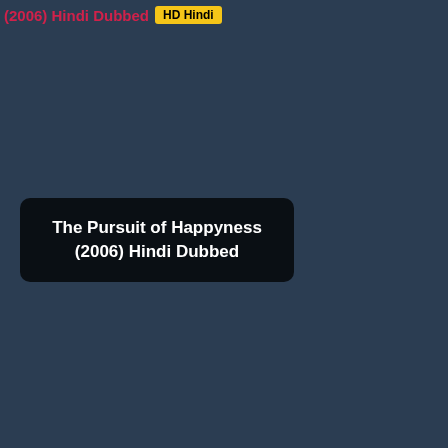(2006) Hindi Dubbed
[Figure (other): HD Hindi badge/tag button in yellow]
The Pursuit of Happyness (2006) Hindi Dubbed